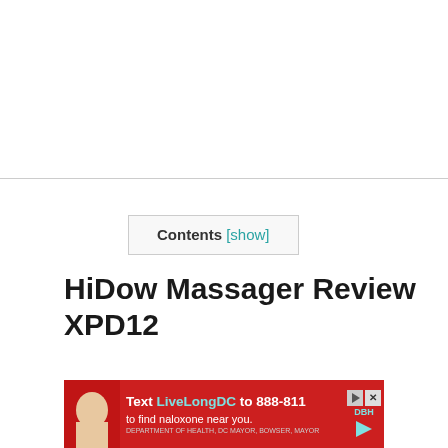Contents [show]
HiDow Massager Review XPD12
[Figure (photo): Advertisement banner with red background, text 'Text LiveLongDC to 888-811 to find naloxone near you.' with DBH branding and person partially visible on left side.]